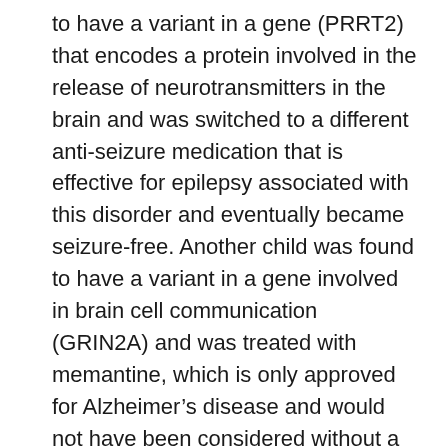to have a variant in a gene (PRRT2) that encodes a protein involved in the release of neurotransmitters in the brain and was switched to a different anti-seizure medication that is effective for epilepsy associated with this disorder and eventually became seizure-free. Another child was found to have a variant in a gene involved in brain cell communication (GRIN2A) and was treated with memantine, which is only approved for Alzheimer's disease and would not have been considered without a genetic diagnosis.¹
“We found the impact of a genetic diagnosis was even higher in children whose epilepsy began before they turned 2 years old,” Dr.